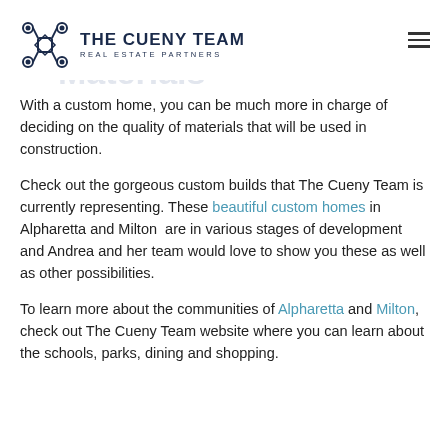THE CUENY TEAM REAL ESTATE PARTNERS
With a custom home, you can be much more in charge of deciding on the quality of materials that will be used in construction.
Check out the gorgeous custom builds that The Cueny Team is currently representing. These beautiful custom homes in Alpharetta and Milton are in various stages of development and Andrea and her team would love to show you these as well as other possibilities.
To learn more about the communities of Alpharetta and Milton, check out The Cueny Team website where you can learn about the schools, parks, dining and shopping.